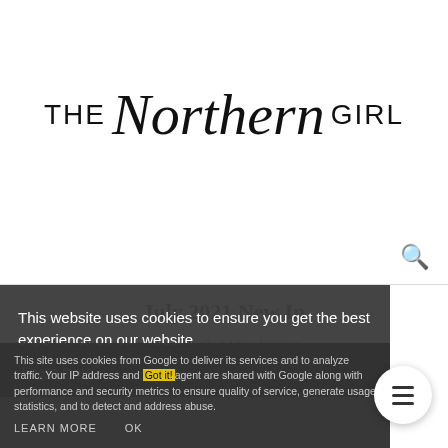THE Northern GIRL
[Figure (logo): The Northern Girl blog logo with handwritten-style cursive for 'Northern' flanked by sans-serif 'THE' and 'GIRL']
July 2021 New In
This website uses cookies to ensure you get the best experience on our website.
Learn more
Well it is safe to say catching Covid actually did me a favour as
This site uses cookies from Google to deliver its services and to analyze traffic. Your IP address and agent are shared with Google along with performance and security metrics to ensure quality of service, generate usage statistics, and to detect and address abuse.
Got it!
finally put some money toward something I have wanted to do
LEARN MORE    OK